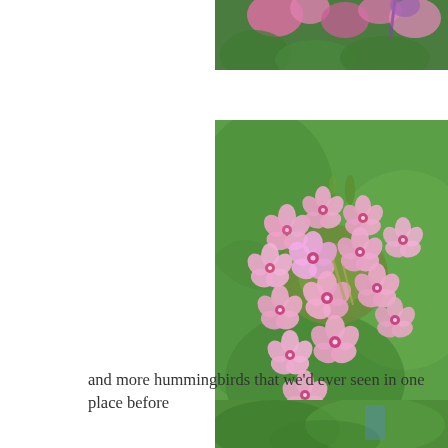[Figure (photo): Partial view of pink flowers with green foliage, cropped at top of page]
[Figure (photo): Close-up photograph of a cluster of pink phlox flowers with green stems and leaves against a blurred green background]
and more hummingbirds that we'd ever seen in one place before
[Figure (photo): Partial view of green foliage, cropped at bottom of page]